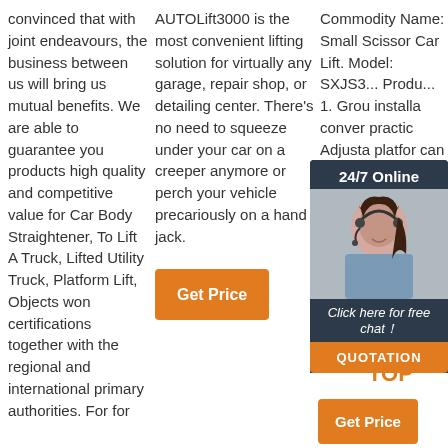convinced that with joint endeavours, the business between us will bring us mutual benefits. We are able to guarantee you products high quality and competitive value for Car Body Straightener, To Lift A Truck, Lifted Utility Truck, Platform Lift, Objects won certifications together with the regional and international primary authorities. For for
AUTOLift3000 is the most convenient lifting solution for virtually any garage, repair shop, or detailing center. There's no need to squeeze under your car on a creeper anymore or perch your vehicle precariously on a hand jack.
Get Price
Commodity Name: Small Scissor Car Lift. Model: SXJS3... Products: 1. Ground installation, convenient and practical. Adjustable platform, can be ... to 2000... Stable and reliable system with imported hydraulic seals.
[Figure (photo): Chat widget with woman wearing headset, dark navy background, '24/7 Online' header, 'Click here for free chat!' text, and orange QUOTATION button]
Get Price